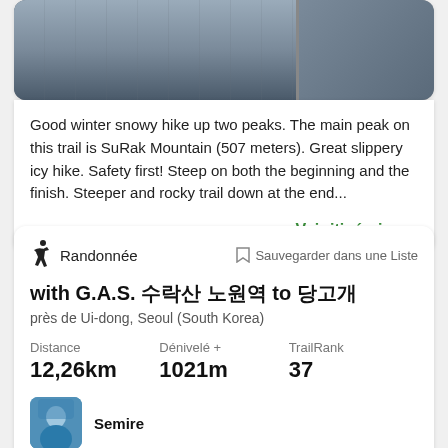[Figure (photo): Two photos side by side: left shows a building/station exterior in winter, right shows metal stairs or structure]
Good winter snowy hike up two peaks. The main peak on this trail is SuRak Mountain (507 meters). Great slippery icy hike. Safety first! Steep on both the beginning and the finish. Steeper and rocky trail down at the end...
Voir itinéraire →
Randonnée
Sauvegarder dans une Liste
with G.A.S. 수락산 노원역 to 당고개
près de Ui-dong, Seoul (South Korea)
Distance
12,26km
Dénivelé +
1021m
TrailRank
37
[Figure (photo): Circular avatar photo of user Semire wearing blue outdoor jacket]
Semire